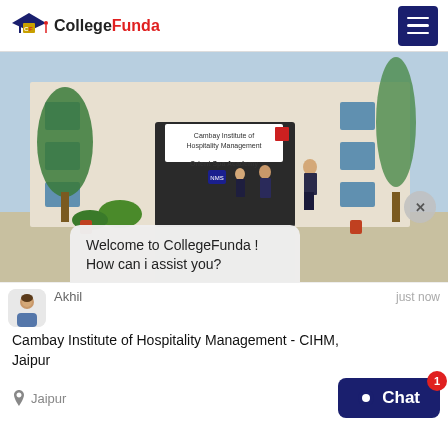College Funda
[Figure (photo): Entrance of Cambay Institute of Hospitality Management building with signage reading 'Cambay Institute of Hospitality Management' and 'Orient Spa Academy', with people standing near the entrance, trees on both sides.]
Welcome to CollegeFunda !
How can i assist you?
Akhil · just now
Cambay Institute of Hospitality Management - CIHM, Jaipur
Jaipur
Chat